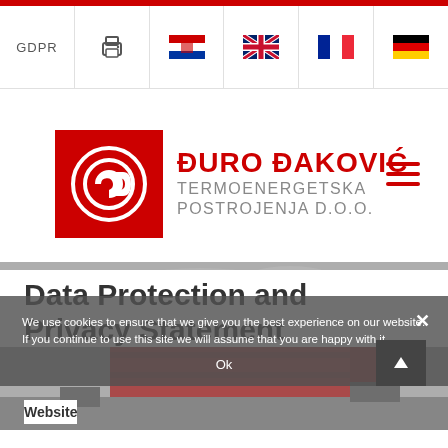GDPR | [print icon] | [HR flag] | [UK flag] | [FR flag] | [DE flag]
[Figure (logo): Đuro Đaković Termoenergetska Postrojenja D.O.O. logo — red square with circular GD icon, company name in red and grey text]
[Figure (photo): Black and white photo with a large red industrial building/container structure under cloudy sky]
We use cookies to ensure that we give you the best experience on our website. If you continue to use this site we will assume that you are happy with it.
Ok
Data Protection and Privacy Statement
Website